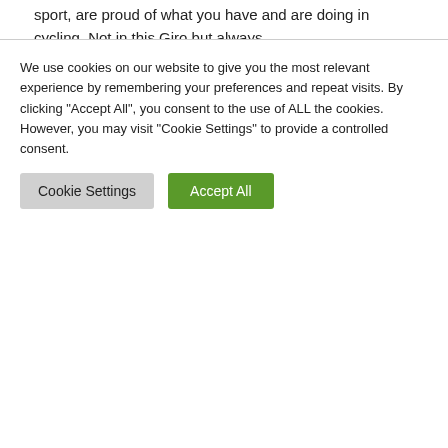sport, are proud of what you have and are doing in cycling. Not in this Giro but always.
All pictures and articles, copyright @ by the author, we use, are for editorial and non-commercial usages only)
[Figure (infographic): Social sharing buttons: Facebook, Twitter, Email, LinkedIn, Telegram, Pinterest]
« Giro d'Italia... | Giro d'Italia. Stage 20, Sat May 28: Verbania Valla...
We use cookies on our website to give you the most relevant experience by remembering your preferences and repeat visits. By clicking "Accept All", you consent to the use of ALL the cookies. However, you may visit "Cookie Settings" to provide a controlled consent.